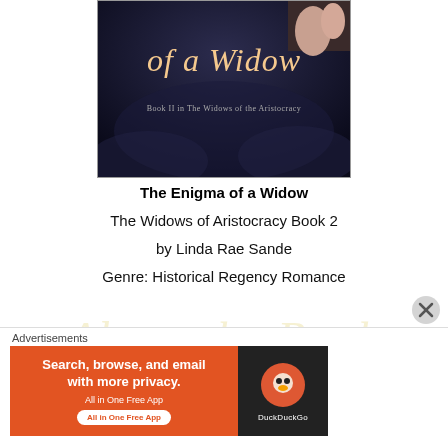[Figure (illustration): Book cover for 'The Enigma of a Widow' showing decorative script text and dark background with floral motifs and hands detail]
The Enigma of a Widow
The Widows of Aristocracy Book 2
by Linda Rae Sande
Genre: Historical Regency Romance
[Figure (illustration): Decorative script watermark text reading 'About the Book' in gold/cream cursive]
Having lost her husband in the Battle of Ligny, Lady Lydia
Advertisements
[Figure (other): DuckDuckGo advertisement banner: 'Search, browse, and email with more privacy. All in One Free App' with DuckDuckGo logo on dark background]